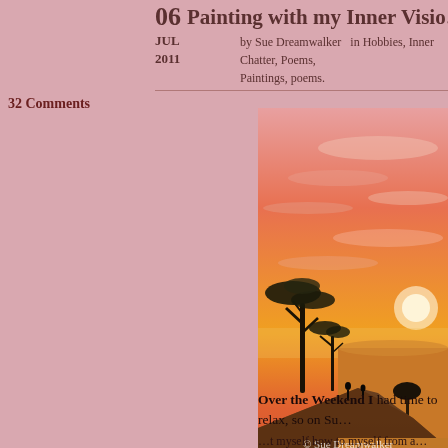06 Painting with my Inner Visio…
JUL 2011  by Sue Dreamwalker  in Hobbies, Inner Chatter, Poems, Paintings, poems.
32 Comments
[Figure (illustration): An oil painting of an African savanna sunset scene. Features acacia trees silhouetted against a vibrant orange and red sky, rocky cliffs, desert plains, cactus plants in the foreground, and small animal or human figures on the cliff edge. Watermark reads '© Sue Dreamwalker'.]
Over the Weekend I had time to relax, so on Su…